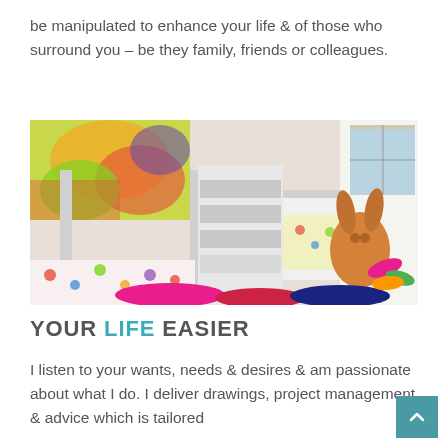be manipulated to enhance your life & of those who surround you – be they family, friends or colleagues.
[Figure (photo): A colorful children's bedroom with white bunk beds featuring built-in shelving. The beds have colorful polka-dot bedding. On the floor there are round rugs in pink, red, and blue colors, and a large orange stuffed bunny toy sits against the wall. A window with a roman blind is visible on the right side. A vibrant graffiti-style mural is on the wall behind the beds.]
YOUR LIFE EASIER
I listen to your wants, needs & desires & am passionate about what I do. I deliver drawings, project management & advice which is tailored